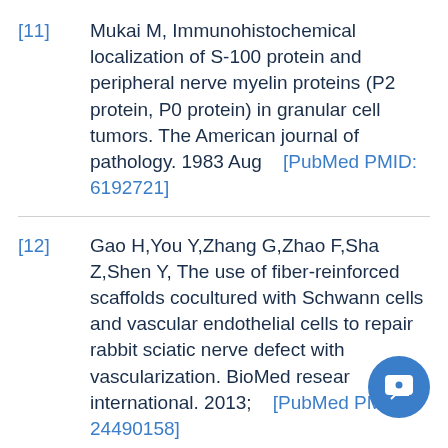[11] Mukai M, Immunohistochemical localization of S-100 protein and peripheral nerve myelin proteins (P2 protein, P0 protein) in granular cell tumors. The American journal of pathology. 1983 Aug [PubMed PMID: 6192721]
[12] Gao H,You Y,Zhang G,Zhao F,Sha Z,Shen Y, The use of fiber-reinforced scaffolds cocultured with Schwann cells and vascular endothelial cells to repair rabbit sciatic nerve defect with vascularization. BioMed research international. 2013; [PubMed PMID: 24490158]